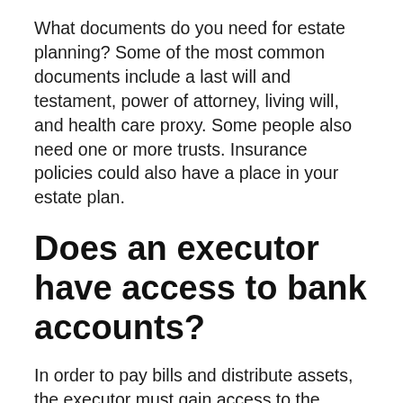What documents do you need for estate planning? Some of the most common documents include a last will and testament, power of attorney, living will, and health care proxy. Some people also need one or more trusts. Insurance policies could also have a place in your estate plan.
Does an executor have access to bank accounts?
In order to pay bills and distribute assets, the executor must gain access to the deceased bank accounts. Getting everything in order before you go to the bank helps. Obtain an original death certificate from the County Coroner's Office or County Vital Records where the person died...